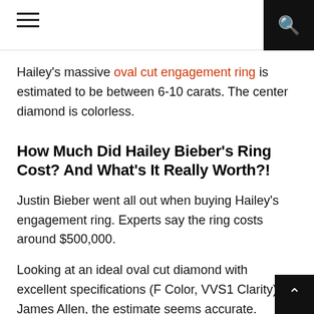[hamburger menu] [search icon]
Hailey's massive oval cut engagement ring is estimated to be between 6-10 carats. The center diamond is colorless.
How Much Did Hailey Bieber's Ring Cost? And What's It Really Worth?!
Justin Bieber went all out when buying Hailey's engagement ring. Experts say the ring costs around $500,000.
Looking at an ideal oval cut diamond with excellent specifications (F Color, VVS1 Clarity) at James Allen, the estimate seems accurate.